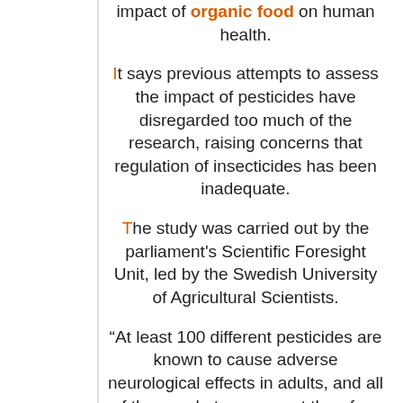impact of organic food on human health.
It says previous attempts to assess the impact of pesticides have disregarded too much of the research, raising concerns that regulation of insecticides has been inadequate.
The study was carried out by the parliament's Scientific Foresight Unit, led by the Swedish University of Agricultural Scientists.
“At least 100 different pesticides are known to cause adverse neurological effects in adults, and all of these substances must therefore be suspected of being capable of damaging developing brains as well,”